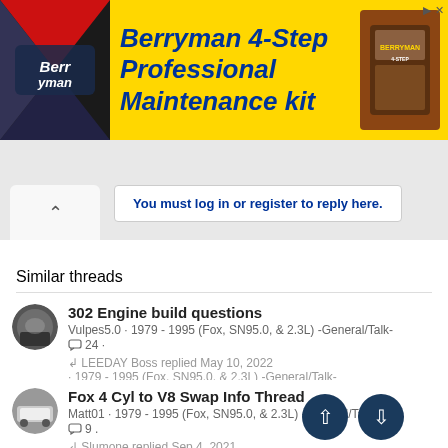[Figure (illustration): Berryman 4-Step Professional Maintenance kit advertisement banner with yellow background, Berryman logo on left, blue bold italic text in center, product box image on right]
You must log in or register to reply here.
Similar threads
302 Engine build questions
Vulpes5.0 · 1979 - 1995 (Fox, SN95.0, & 2.3L) -General/Talk-
💬 24 ·
LEEDAY Boss replied May 10, 2022
· 1979 - 1995 (Fox, SN95.0, & 2.3L) -General/Talk-
Fox 4 Cyl to V8 Swap Info Thread
Matt01 · 1979 - 1995 (Fox, SN95.0, & 2.3L) -General/Talk-
💬 9 .
Slumone replied Sep 4, 2021
· 1979 - 1995 (Fox, SN95.0, & 2.3L) -General/Tal-